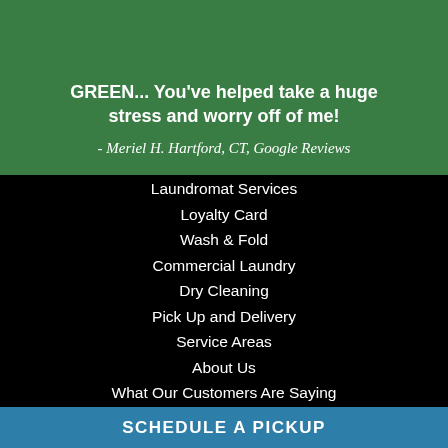GREEN... You've helped take a huge stress and worry off of me!
- Meriel H. Hartford, CT, Google Reviews
Laundromat Services
Loyalty Card
Wash & Fold
Commercial Laundry
Dry Cleaning
Pick Up and Delivery
Service Areas
About Us
What Our Customers Are Saying
SCHEDULE A PICKUP